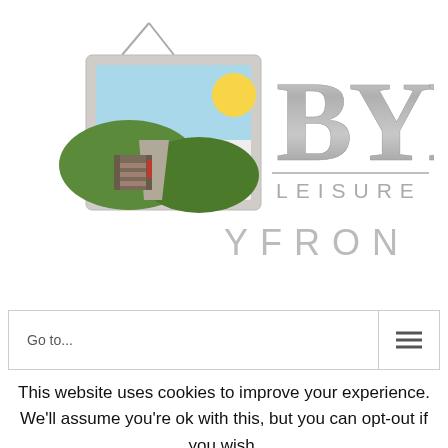[Figure (logo): BYB Leisure Yfron logo with a framed landscape painting icon on the left and stylized metallic 'BYB' lettering with 'LEISURE' and 'YFRON' text on the right]
Go to...
This website uses cookies to improve your experience. We'll assume you're ok with this, but you can opt-out if you wish.
Cookie settings
ACCEPT